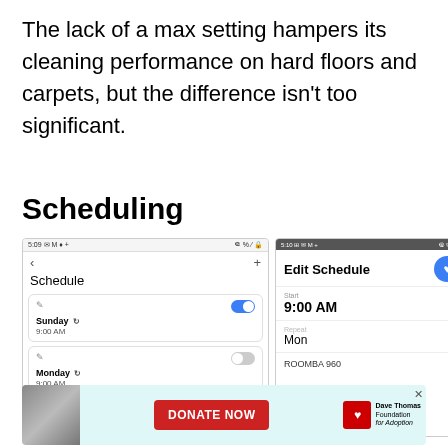The lack of a max setting hampers its cleaning performance on hard floors and carpets, but the difference isn't too significant.
Scheduling
[Figure (screenshot): Two mobile app screenshots showing a robot vacuum scheduling interface. Left screenshot shows a 'Schedule' screen with two entries: Sunday 9:00 AM (toggle on) and Monday 9:00 AM (toggle off). Right screenshot shows an 'Edit Schedule' screen with Start time 9:00 AM, Repeat: Mon, and ROOMBA 960 label.]
[Figure (screenshot): Advertisement banner for Dave Thomas Foundation for Adoption with a DONATE NOW button in red.]